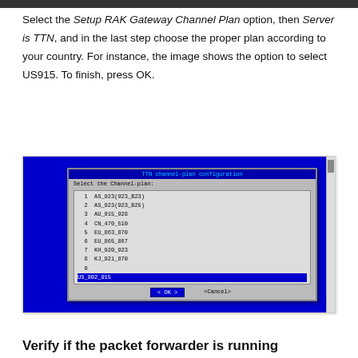Select the Setup RAK Gateway Channel Plan option, then Server is TTN, and in the last step choose the proper plan according to your country. For instance, the image shows the option to select US915. To finish, press OK.
[Figure (screenshot): Terminal screenshot showing a blue background with a dialog box titled 'TTN channel plan configuration'. The dialog shows 'Select the Channel-plan:' with a numbered list including AS_923(923_B23), AS_923(923_B25), AU_915_928, CN_470_510, EU_863_870, EU_865_867, KH_920_923, KJ_921_870, and US_902_915 (selected/highlighted in blue). Buttons at the bottom show OK and Cancel.]
Verify if the packet forwarder is running